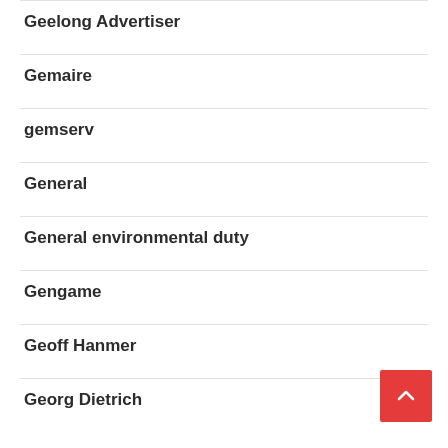Geelong Advertiser
Gemaire
gemserv
General
General environmental duty
Gengame
Geoff Hanmer
Georg Dietrich